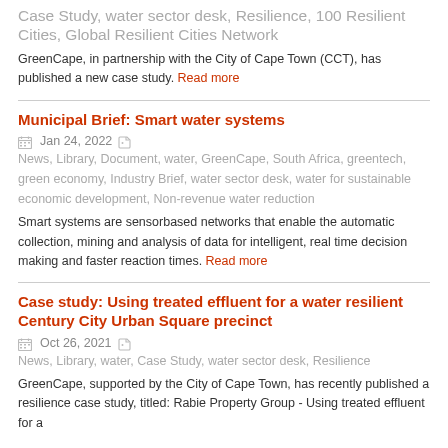Case Study, water sector desk, Resilience, 100 Resilient Cities, Global Resilient Cities Network
GreenCape, in partnership with the City of Cape Town (CCT), has published a new case study. Read more
Municipal Brief: Smart water systems
Jan 24, 2022   News, Library, Document, water, GreenCape, South Africa, greentech, green economy, Industry Brief, water sector desk, water for sustainable economic development, Non-revenue water reduction
Smart systems are sensorbased networks that enable the automatic collection, mining and analysis of data for intelligent, real time decision making and faster reaction times. Read more
Case study: Using treated effluent for a water resilient Century City Urban Square precinct
Oct 26, 2021   News, Library, water, Case Study, water sector desk, Resilience
GreenCape, supported by the City of Cape Town, has recently published a resilience case study, titled: Rabie Property Group - Using treated effluent for a